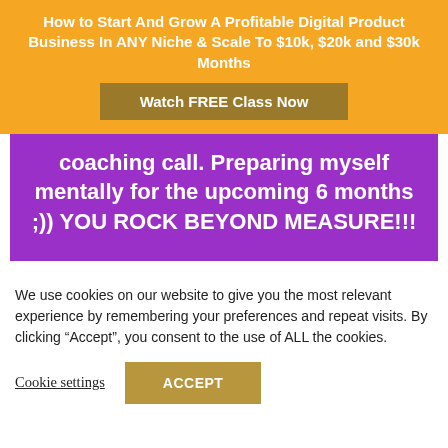How to Start And Grow A Profitable Digital Product Business In ANY Niche & Scale To $10k, $20k and $30k Months
Watch FREE Class Now
coaching call. Preparing myself mentally for the upcoming 6 months ;)) YOU ROCK BEYOND MEASURE!!!
We use cookies on our website to give you the most relevant experience by remembering your preferences and repeat visits. By clicking “Accept”, you consent to the use of ALL the cookies.
Cookie settings
ACCEPT